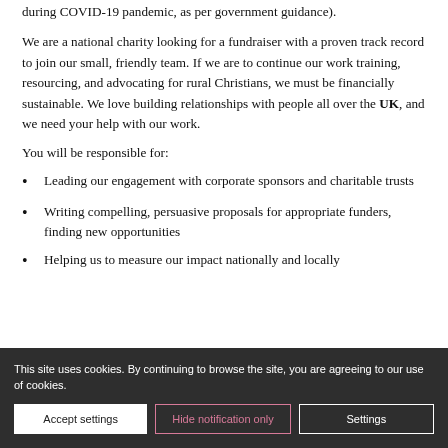during COVID-19 pandemic, as per government guidance).
We are a national charity looking for a fundraiser with a proven track record to join our small, friendly team. If we are to continue our work training, resourcing, and advocating for rural Christians, we must be financially sustainable. We love building relationships with people all over the UK, and we need your help with our work.
You will be responsible for:
Leading our engagement with corporate sponsors and charitable trusts
Writing compelling, persuasive proposals for appropriate funders, finding new opportunities
Helping us to measure our impact nationally and locally
This site uses cookies. By continuing to browse the site, you are agreeing to our use of cookies.